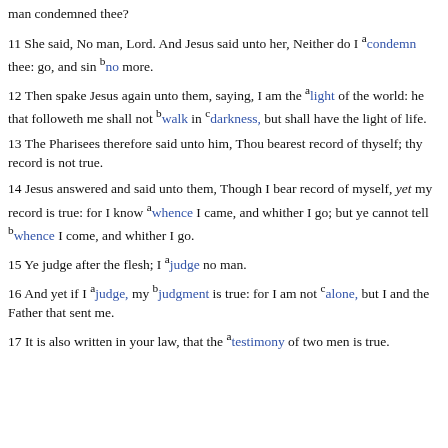man condemned thee?
11 She said, No man, Lord. And Jesus said unto her, Neither do I condemn thee: go, and sin no more.
12 Then spake Jesus again unto them, saying, I am the light of the world: he that followeth me shall not walk in darkness, but shall have the light of life.
13 The Pharisees therefore said unto him, Thou bearest record of thyself; thy record is not true.
14 Jesus answered and said unto them, Though I bear record of myself, yet my record is true: for I know whence I came, and whither I go; but ye cannot tell whence I come, and whither I go.
15 Ye judge after the flesh; I judge no man.
16 And yet if I judge, my judgment is true: for I am not alone, but I and the Father that sent me.
17 It is also written in your law, that the testimony of two men is true.